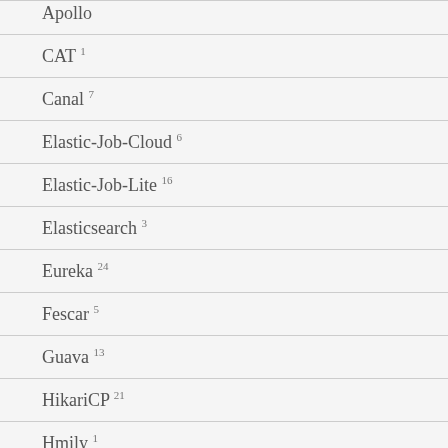Apollo
CAT 1
Canal 7
Elastic-Job-Cloud 6
Elastic-Job-Lite 16
Elasticsearch 3
Eureka 24
Fescar 5
Guava 13
HikariCP 21
Hmily 1
Hystrix 12